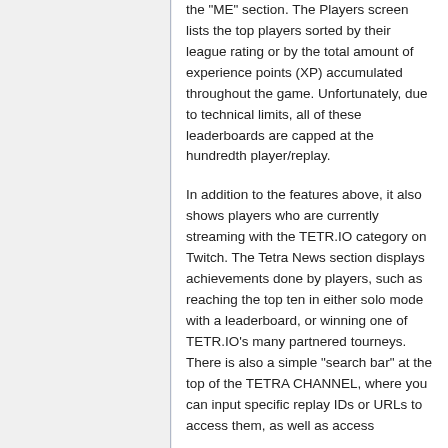the "ME" section. The Players screen lists the top players sorted by their league rating or by the total amount of experience points (XP) accumulated throughout the game. Unfortunately, due to technical limits, all of these leaderboards are capped at the hundredth player/replay.
In addition to the features above, it also shows players who are currently streaming with the TETR.IO category on Twitch. The Tetra News section displays achievements done by players, such as reaching the top ten in either solo mode with a leaderboard, or winning one of TETR.IO's many partnered tourneys. There is also a simple "search bar" at the top of the TETRA CHANNEL, where you can input specific replay IDs or URLs to access them, as well as access